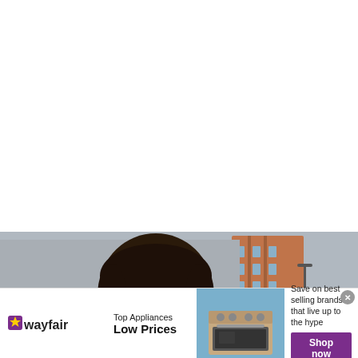[Figure (photo): Top white area (blank content above advertisement)]
[Figure (photo): Wayfair banner advertisement showing a smiling woman outdoors with urban building background in upper portion, and a kitchen range/stove appliance in the center of the ad strip. Ad text reads: Top Appliances Low Prices. Save on best selling brands that live up to the hype. Shop now button.]